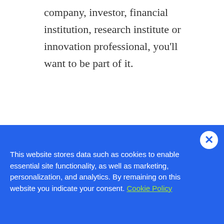company, investor, financial institution, research institute or innovation professional, you'll want to be part of it.
Hyperledger Sessions
PANEL: Blockchain Interoperability
Tuesday, Nov. 12 | 15:00 |
This website stores data such as cookies to enable essential site functionality, as well as marketing, personalization, and analytics. By remaining on this website you indicate your consent. Cookie Policy